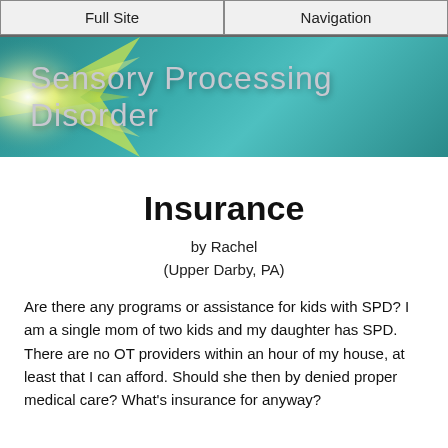Full Site | Navigation
[Figure (illustration): Sensory Processing Disorder website banner with teal/blue gradient background, starburst light effect on the left, and 'Sensory Processing Disorder' text in large grey/silver letters.]
Insurance
by Rachel
(Upper Darby, PA)
Are there any programs or assistance for kids with SPD? I am a single mom of two kids and my daughter has SPD. There are no OT providers within an hour of my house, at least that I can afford. Should she then by denied proper medical care? What's insurance for anyway?